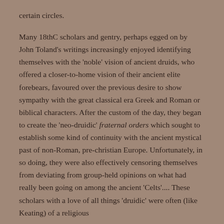certain circles.
Many 18thC scholars and gentry, perhaps egged on by John Toland's writings increasingly enjoyed identifying themselves with the 'noble' vision of ancient druids, who offered a closer-to-home vision of their ancient elite forebears, favoured over the previous desire to show sympathy with the great classical era Greek and Roman or biblical characters. After the custom of the day, they began to create the 'neo-druidic' fraternal orders which sought to establish some kind of continuity with the ancient mystical past of non-Roman, pre-christian Europe. Unfortunately, in so doing, they were also effectively censoring themselves from deviating from group-held opinions on what had really been going on among the ancient 'Celts'.... These scholars with a love of all things 'druidic' were often (like Keating) of a religious